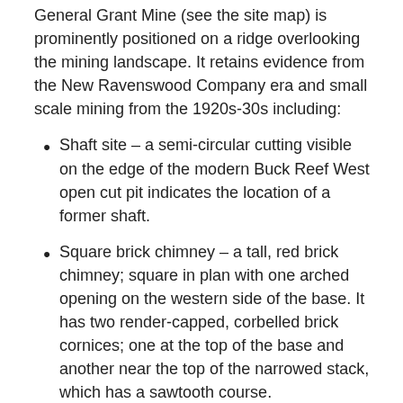General Grant Mine (see the site map) is prominently positioned on a ridge overlooking the mining landscape. It retains evidence from the New Ravenswood Company era and small scale mining from the 1920s-30s including:
Shaft site – a semi-circular cutting visible on the edge of the modern Buck Reef West open cut pit indicates the location of a former shaft.
Square brick chimney – a tall, red brick chimney; square in plan with one arched opening on the western side of the base. It has two render-capped, corbelled brick cornices; one at the top of the base and another near the top of the narrowed stack, which has a sawtooth course.
Winding engine site – an assemblage of concrete and brick mounts, a vertical boiler and a concrete cooling tank; situated to the southwest of the chimney and